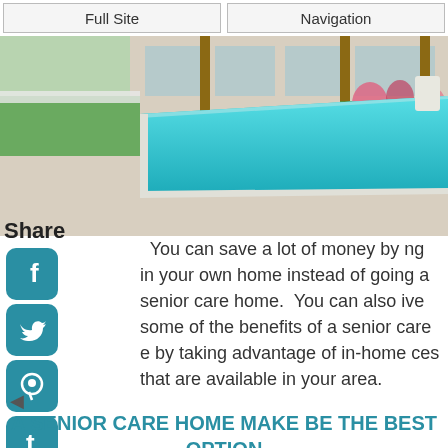Full Site | Navigation
[Figure (photo): Outdoor swimming pool with clear blue water, surrounded by a paved deck, lawn, garden beds with tropical plants, and a house in the background.]
You can save a lot of money by ng in your own home instead of going a senior care home. You can also ive some of the benefits of a senior care e by taking advantage of in-home ces that are available in your area.
A SENIOR CARE HOME MAKE BE THE BEST OPTION